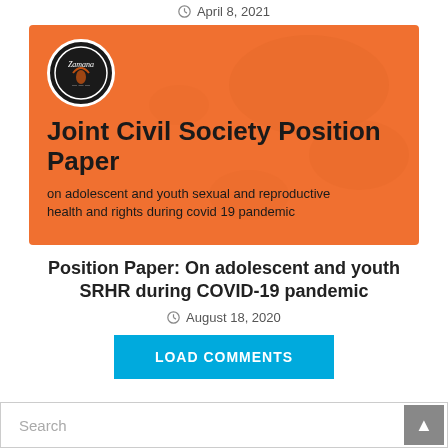April 8, 2021
[Figure (illustration): Orange banner image for Joint Civil Society Position Paper on adolescent and youth sexual and reproductive health and rights during covid 19 pandemic, with a circular Zamana logo in the top left.]
Position Paper: On adolescent and youth SRHR during COVID-19 pandemic
August 18, 2020
LOAD COMMENTS
Search